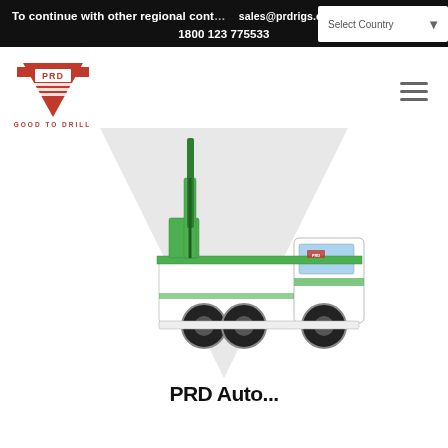To continue with other regional cont... sales@prdrigs.com  +91 98427 51745  1800 123 775533
[Figure (logo): PRD logo - red downward-pointing chevron/shield with PRD text and horizontal stripes, with 'GOOD TO DRILL' tagline below]
[Figure (photo): PRD truck-mounted drilling rig - green mast/derrick mounted on a white truck, shown in front of a grey inverted triangle background]
PRD Auto...